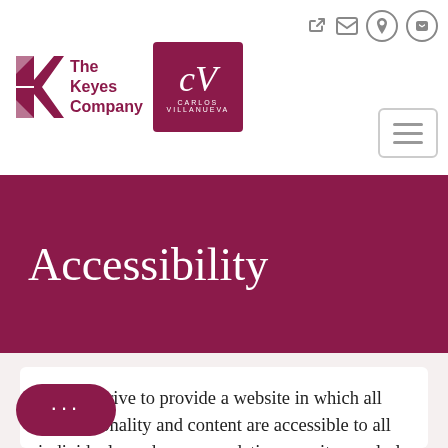[Figure (logo): The Keyes Company logo with stylized K and text]
[Figure (logo): CV (Carlos Villanueva) logo in maroon box]
Accessibility
We strive to provide a website in which all functionality and content are accessible to all individuals, and we are updating our site regularly to make it as accessible as possible. Our website strives